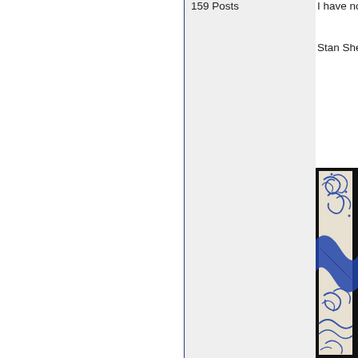159 Posts
I have not p
Stan Shepp
[Figure (photo): A partial view of a decorative blue and white ceramic or porcelain tile/artwork showing ornate scrollwork and wave patterns, displayed against a dark/black background. Only the right portion of the image is visible.]